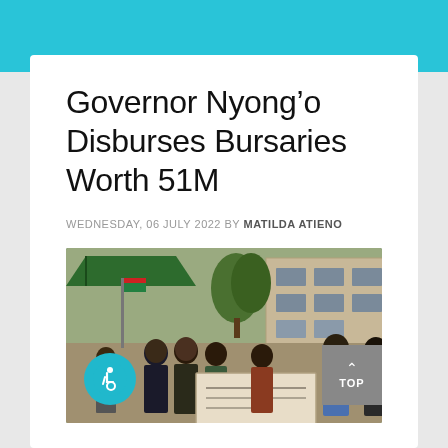Governor Nyong’o Disburses Bursaries Worth 51M
WEDNESDAY, 06 JULY 2022 BY MATILDA ATIENO
[Figure (photo): Group of people outdoors in front of a building, with individuals presenting a large cheque. A green tent canopy is visible on the left, trees and a multi-storey building in the background.]